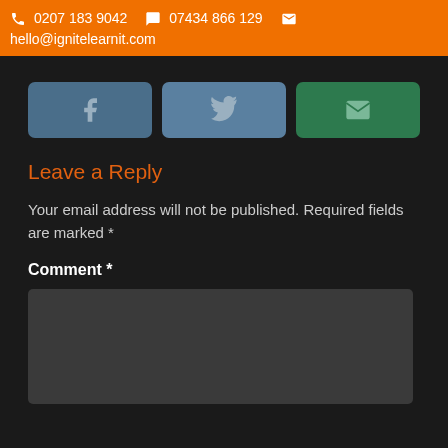📞 0207 183 9042   💬 07434 866 129   ✉  hello@ignitlearnit.com
[Figure (other): Three social share buttons: Facebook (blue), Twitter (blue), Email (green)]
Leave a Reply
Your email address will not be published. Required fields are marked *
Comment *